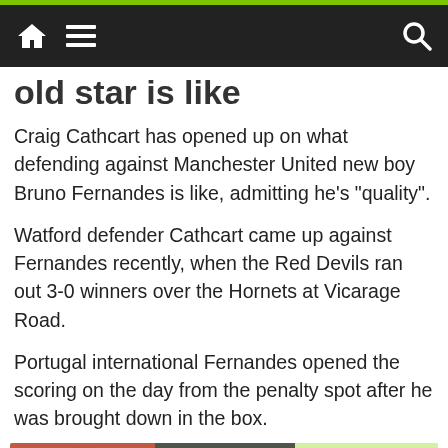Navigation bar with home, menu, and search icons
...old star is like
Craig Cathcart has opened up on what defending against Manchester United new boy Bruno Fernandes is like, admitting he's "quality".
Watford defender Cathcart came up against Fernandes recently, when the Red Devils ran out 3-0 winners over the Hornets at Vicarage Road.
Portugal international Fernandes opened the scoring on the day from the penalty spot after he was brought down in the box.
[Figure (illustration): Mobile Ini advertisement banner with game characters, 'MOBILE INI' logo in blue and yellow, and 'FREE PLAY' badge]